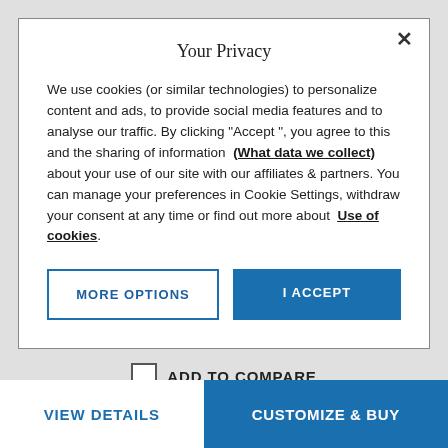Your Privacy
We use cookies (or similar technologies) to personalize content and ads, to provide social media features and to analyse our traffic. By clicking "Accept ", you agree to this and the sharing of information (What data we collect) about your use of our site with our affiliates & partners. You can manage your preferences in Cookie Settings, withdraw your consent at any time or find out more about Use of cookies.
MORE OPTIONS
I ACCEPT
ADD TO COMPARE
VIEW DETAILS
CUSTOMIZE & BUY